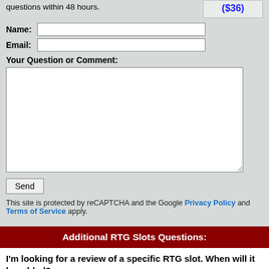questions within 48 hours.
($36)
Name:
Email:
Your Question or Comment:
Send
This site is protected by reCAPTCHA and the Google Privacy Policy and Terms of Service apply.
Additional RTG Slots Questions:
I'm looking for a review of a specific RTG slot. When will it be added?
We are working diligently to reviews all of the slots across all of the casino platforms. If there is a certain slot review that you want to see, you can